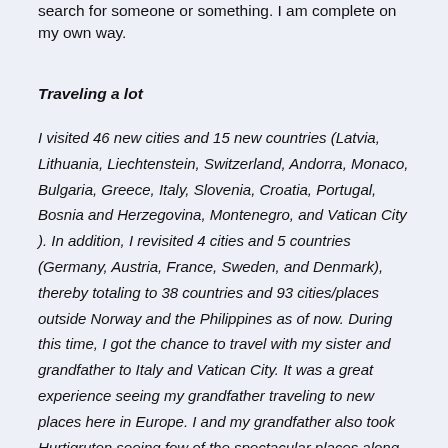search for someone or something. I am complete on my own way.
Traveling a lot
I visited 46 new cities and 15 new countries (Latvia, Lithuania, Liechtenstein, Switzerland, Andorra, Monaco, Bulgaria, Greece, Italy, Slovenia, Croatia, Portugal, Bosnia and Herzegovina, Montenegro, and Vatican City ). In addition, I revisited 4 cities and 5 countries (Germany, Austria, France, Sweden, and Denmark), thereby totaling to 38 countries and 93 cities/places outside Norway and the Philippines as of now. During this time, I got the chance to travel with my sister and grandfather to Italy and Vatican City. It was a great experience seeing my grandfather traveling to new places here in Europe. I and my grandfather also took Hurtigruten seeing few of the spectacular places along the Norwegian coast, as well as a short boat tour